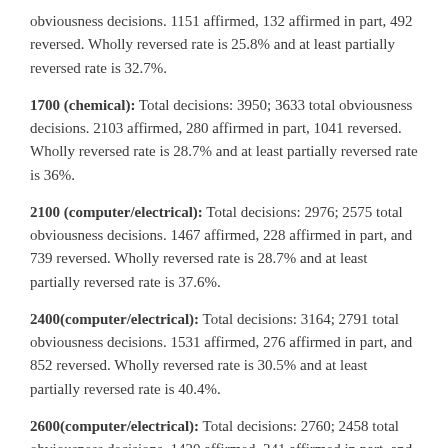obviousness decisions. 1151 affirmed, 132 affirmed in part, 492 reversed. Wholly reversed rate is 25.8% and at least partially reversed rate is 32.7%.
1700 (chemical): Total decisions: 3950; 3633 total obviousness decisions. 2103 affirmed, 280 affirmed in part, 1041 reversed. Wholly reversed rate is 28.7% and at least partially reversed rate is 36%.
2100 (computer/electrical): Total decisions: 2976; 2575 total obviousness decisions. 1467 affirmed, 228 affirmed in part, and 739 reversed. Wholly reversed rate is 28.7% and at least partially reversed rate is 37.6%.
2400(computer/electrical): Total decisions: 3164; 2791 total obviousness decisions. 1531 affirmed, 276 affirmed in part, and 852 reversed. Wholly reversed rate is 30.5% and at least partially reversed rate is 40.4%.
2600(computer/electrical): Total decisions: 2760; 2458 total obviousness decisions. 1420 affirmed, 241 affirmed in part, and 677 reversed. Wholly reversed 27.5% and at least partially reversed rate is 37.2%.